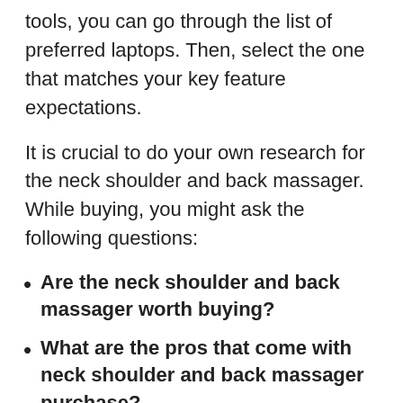tools, you can go through the list of preferred laptops. Then, select the one that matches your key feature expectations.
It is crucial to do your own research for the neck shoulder and back massager. While buying, you might ask the following questions:
Are the neck shoulder and back massager worth buying?
What are the pros that come with neck shoulder and back massager purchase?
While buying functional neck shoulder and